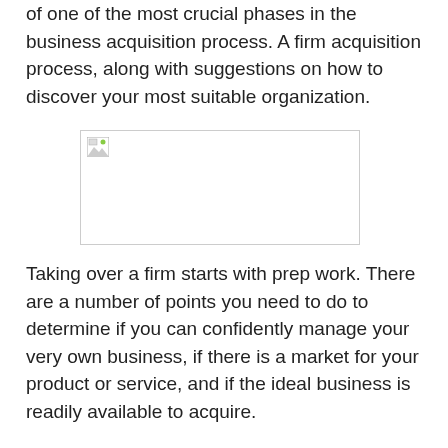of one of the most crucial phases in the business acquisition process. A firm acquisition process, along with suggestions on how to discover your most suitable organization.
[Figure (photo): Broken/unloaded image placeholder with small image icon in top-left corner]
Taking over a firm starts with prep work. There are a number of points you need to do to determine if you can confidently manage your very own business, if there is a market for your product or service, and if the ideal business is readily available to acquire.